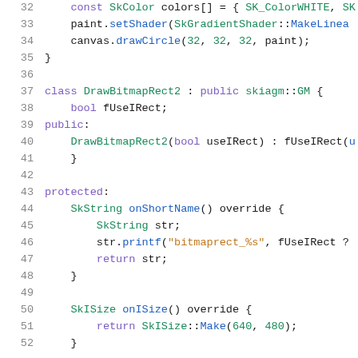[Figure (screenshot): Source code editor view showing C++ code lines 32–52 with syntax highlighting. Dark text on white background with colored keywords, types, and string literals.]